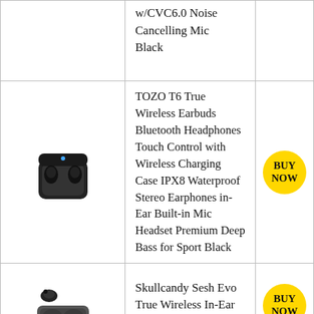| Image | Product Name | Action |
| --- | --- | --- |
| [earbuds image] | w/CVC6.0 Noise Cancelling Mic Black | BUY NOW |
| [TOZO earbuds image] | TOZO T6 True Wireless Earbuds Bluetooth Headphones Touch Control with Wireless Charging Case IPX8 Waterproof Stereo Earphones in-Ear Built-in Mic Headset Premium Deep Bass for Sport Black | BUY NOW |
| [Skullcandy earbuds image] | Skullcandy Sesh Evo True Wireless In-Ear Earbud – True Black | BUY NOW |
| [Avantree headphones image] | Avantree Aria Bluetooth 5.0 Noise Cancelling Headphones Headset for Music & Calls, Dual Microphone, Boom Mic & Built-in Mic, | BUY NOW |